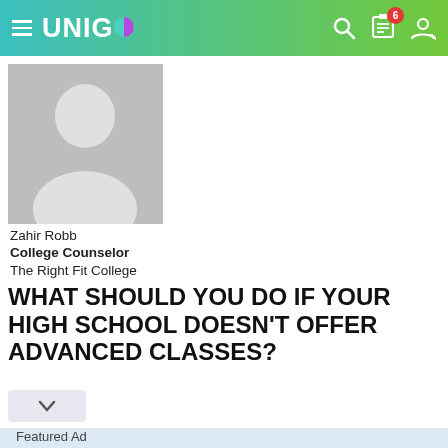UNIGO
[Figure (photo): Gray silhouette avatar placeholder image of a person]
Zahir Robb
College Counselor
The Right Fit College
WHAT SHOULD YOU DO IF YOUR HIGH SCHOOL DOESN'T OFFER ADVANCED CLASSES?
Featured Ad
Enter the $50,000 Scholarship from Niche.
Last day to enter is August 31st
APPLY NOW!